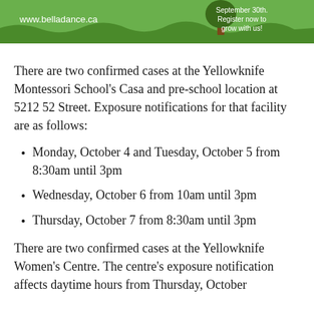[Figure (illustration): Green banner with www.belladance.ca URL on left, a brown tree illustration in the middle-right, and white text on the right reading 'September 30th. Register now to grow with us!']
There are two confirmed cases at the Yellowknife Montessori School's Casa and pre-school location at 5212 52 Street. Exposure notifications for that facility are as follows:
Monday, October 4 and Tuesday, October 5 from 8:30am until 3pm
Wednesday, October 6 from 10am until 3pm
Thursday, October 7 from 8:30am until 3pm
There are two confirmed cases at the Yellowknife Women's Centre. The centre's exposure notification affects daytime hours from Thursday, October 7 to Monday, October 11...